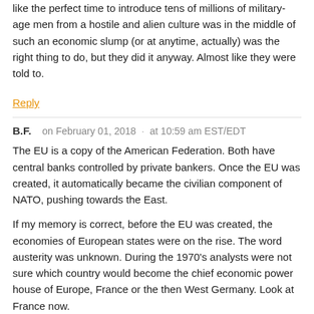like the perfect time to introduce tens of millions of military-age men from a hostile and alien culture was in the middle of such an economic slump (or at anytime, actually) was the right thing to do, but they did it anyway. Almost like they were told to.
Reply
B.F.    on February 01, 2018  ·  at 10:59 am EST/EDT
The EU is a copy of the American Federation. Both have central banks controlled by private bankers. Once the EU was created, it automatically became the civilian component of NATO, pushing towards the East.
If my memory is correct, before the EU was created, the economies of European states were on the rise. The word austerity was unknown. During the 1970's analysts were not sure which country would become the chief economic power house of Europe, France or the then West Germany. Look at France now.
There was not one political, economic, financial and historical reason why the EU should have been created. What has it brought ? Nothing but trouble.